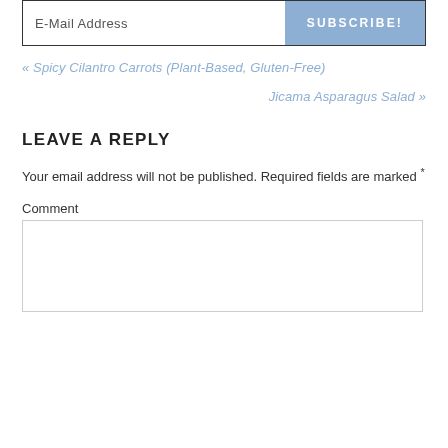E-Mail Address
SUBSCRIBE!
« Spicy Cilantro Carrots (Plant-Based, Gluten-Free)
Jicama Asparagus Salad »
LEAVE A REPLY
Your email address will not be published. Required fields are marked *
Comment